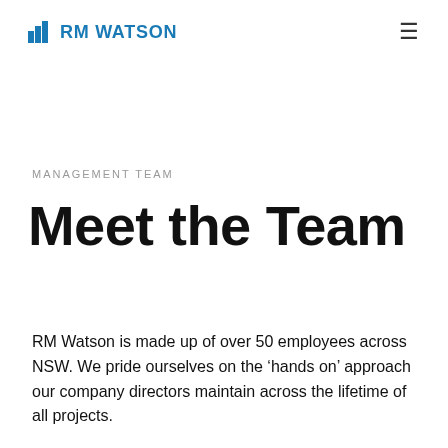RM WATSON
MANAGEMENT TEAM
Meet the Team
RM Watson is made up of over 50 employees across NSW. We pride ourselves on the ‘hands on’ approach our company directors maintain across the lifetime of all projects.